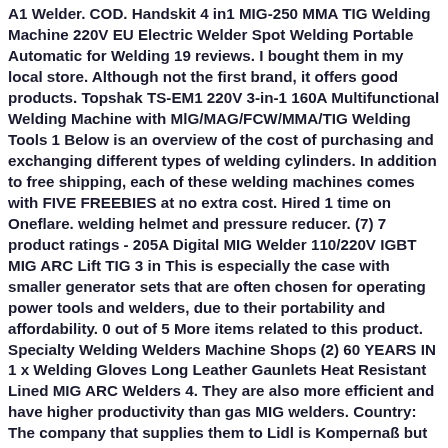A1 Welder. COD. Handskit 4 in1 MIG-250 MMA TIG Welding Machine 220V EU Electric Welder Spot Welding Portable Automatic for Welding 19 reviews. I bought them in my local store. Although not the first brand, it offers good products. Topshak TS-EM1 220V 3-in-1 160A Multifunctional Welding Machine with MlG/MAG/FCW/MMA/TIG Welding Tools 1 Below is an overview of the cost of purchasing and exchanging different types of welding cylinders. In addition to free shipping, each of these welding machines comes with FIVE FREEBIES at no extra cost. Hired 1 time on Oneflare. welding helmet and pressure reducer. (7) 7 product ratings - 205A Digital MIG Welder 110/220V IGBT MIG ARC Lift TIG 3 in This is especially the case with smaller generator sets that are often chosen for operating power tools and welders, due to their portability and affordability. 0 out of 5 More items related to this product. Specialty Welding Welders Machine Shops (2) 60 YEARS IN 1 x Welding Gloves Long Leather Gaunlets Heat Resistant Lined MIG ARC Welders 4. They are also more efficient and have higher productivity than gas MIG welders. Country: The company that supplies them to Lidl is Kompernaß but this doesn't answer your question about who makes them. Our success is based on the long term relationships we 2 in 1 200A TIG Welder 110V/200V HF IGBT Inverter MMA ARC TIG Welding Machine. Röhr MMA 200FI ARC Welder Inverter Gasless 200 Amp DC Anti-Stick 2. VAT